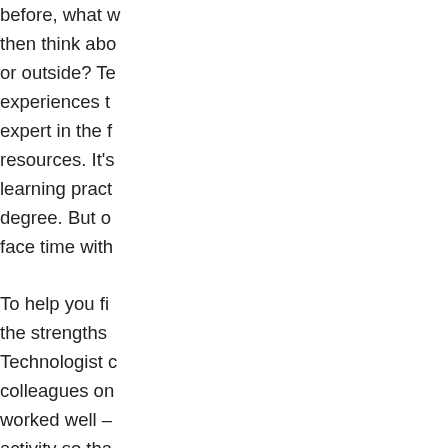before, what u then think about or outside? Te experiences t expert in the f resources. It's learning pract degree. But o face time with
To help you fi the strengths Technologist c colleagues on worked well – activity so tha develop your
This is why w